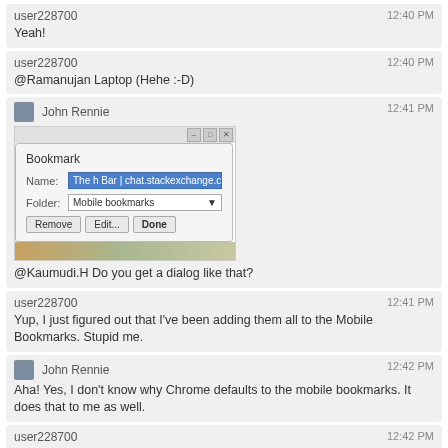user228700 — 12:40 PM
Yeah!
user228700 — 12:40 PM
@Ramanujan Laptop (Hehe :-D)
[Figure (screenshot): Chat message from John Rennie at 12:41 PM showing a browser Bookmark dialog screenshot with Name field 'The h Bar | chat.stackexchange.com' and Folder 'Mobile bookmarks', with Remove, Edit, Done buttons. Text below: '@Kaumudi.H Do you get a dialog like that?']
user228700 — 12:41 PM
Yup, I just figured out that I've been adding them all to the Mobile Bookmarks. Stupid me.
John Rennie — 12:42 PM
Aha! Yes, I don't know why Chrome defaults to the mobile bookmarks. It does that to me as well.
user228700 — 12:42 PM
What, really?
Kenshin — 12:42 PM
not me